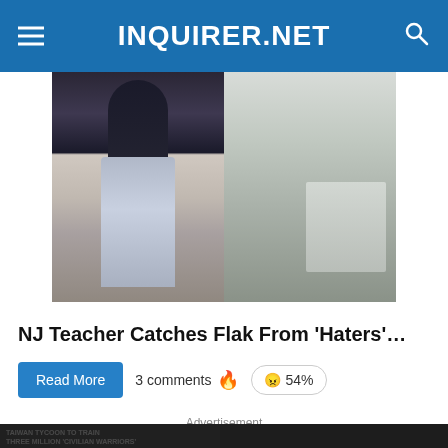INQUIRER.NET
[Figure (photo): Two-panel photo: left shows a woman in dark top and pleated blue skirt seen from behind; right shows a woman in white shirt and jeans with a child reading outdoors]
NJ Teacher Catches Flak From 'Haters'…
Read More   3 comments 🔥   😠 54%
Advertisement
[Figure (screenshot): Video player showing 'Taiwan tycoon to train three million civilian warriors' with error overlay: 'The media could not be loaded, either because the server or network failed or because the format is not supported.']
Taiwan tycoon to train three million 'civilian warriors'
TAIWAN TYCOON TO TRAIN THREE MILLION 'CIVILIAN WARRIORS'